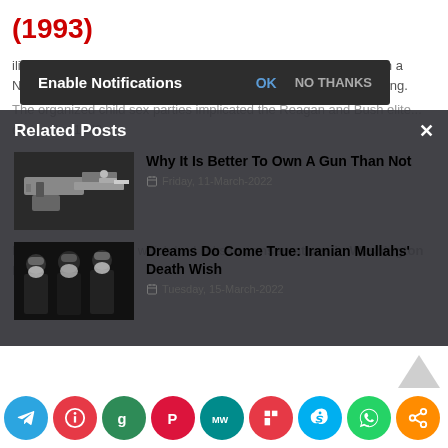(1993)
iling an alleged child sex scandal that involved many children from a Nebraska Institution, Boys Town, and Lawrence King... "Larry" King.
The organized child sex parties implicated the Reagan and Bush elite... during the 1980s.
King... of the sex ring which had links to C... conservatives in Washington D.C., including...
[Figure (screenshot): Enable Notifications popup bar with OK and NO THANKS buttons]
[Figure (screenshot): Related Posts overlay panel with two article cards]
Why It Is Better To Own A Gun Than Not
Friday, 11-March-2022
Dreams Do Come True: Iranian Mullahs' Death Wish
Tuesday, 15-March-2022
[Figure (screenshot): Social media share buttons row: Telegram, Info, G, P, MW, Flipboard, Skype, WhatsApp, Share]